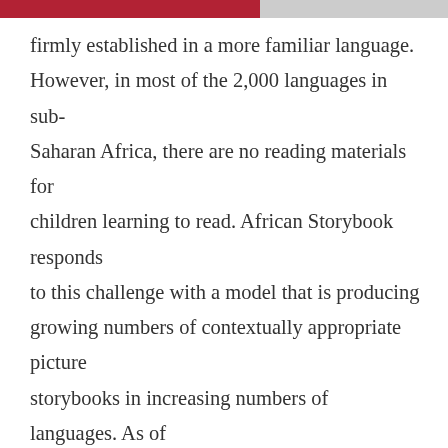firmly established in a more familiar language. However, in most of the 2,000 languages in sub-Saharan Africa, there are no reading materials for children learning to read. African Storybook responds to this challenge with a model that is producing growing numbers of contextually appropriate picture storybooks in increasing numbers of languages. As of May 2018, the website has 916 unique storybooks and 4,125 translations in 140 languages spoken in Africa. In addition, research finds that African Storybooks have positive outcomes on teacher pedagogy and child literacy. Availability of local language storybooks,